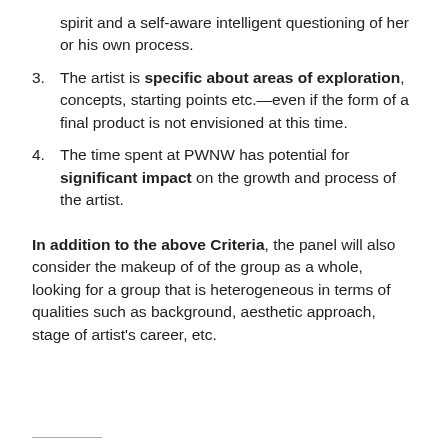spirit and a self-aware intelligent questioning of her or his own process.
3. The artist is specific about areas of exploration, concepts, starting points etc.—even if the form of a final product is not envisioned at this time.
4. The time spent at PWNW has potential for significant impact on the growth and process of the artist.
In addition to the above Criteria, the panel will also consider the makeup of of the group as a whole, looking for a group that is heterogeneous in terms of qualities such as background, aesthetic approach, stage of artist's career, etc.